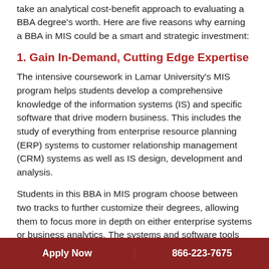take an analytical cost-benefit approach to evaluating a BBA degree's worth. Here are five reasons why earning a BBA in MIS could be a smart and strategic investment:
1. Gain In-Demand, Cutting Edge Expertise
The intensive coursework in Lamar University's MIS program helps students develop a comprehensive knowledge of the information systems (IS) and specific software that drive modern business. This includes the study of everything from enterprise resource planning (ERP) systems to customer relationship management (CRM) systems as well as IS design, development and analysis.
Students in this BBA in MIS program choose between two tracks to further customize their degrees, allowing them to focus more in depth on either enterprise systems or business analytics. The systems and software tools involved in these areas of study are reshaping how
Apply Now   866-223-7675